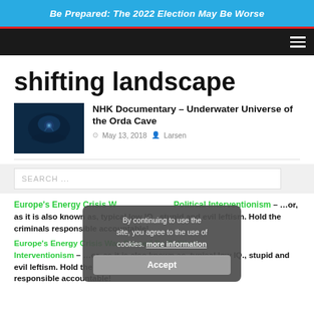Be Prepared: The 2022 Election May Be Worse
shifting landscape
NHK Documentary – Underwater Universe of the Orda Cave
May 13, 2018  Larsen
[Figure (photo): Dark underwater cave photograph with blue tones and a diver silhouette]
SEARCH ...
By continuing to use the site, you agree to the use of cookies. more information  Accept
Europe's Energy Crisis Was Caused By Political Interventionism – ...or, as it is also known as, typical low IQ., stupid and evil leftism. Hold the criminals responsible accountable!